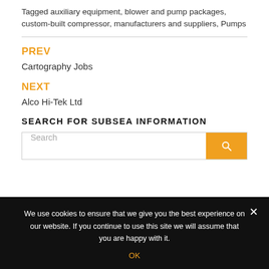Tagged auxiliary equipment, blower and pump packages, custom-built compressor, manufacturers and suppliers, Pumps
PREV
Cartography Jobs
NEXT
Alco Hi-Tek Ltd
SEARCH FOR SUBSEA INFORMATION
Search
We use cookies to ensure that we give you the best experience on our website. If you continue to use this site we will assume that you are happy with it.
OK